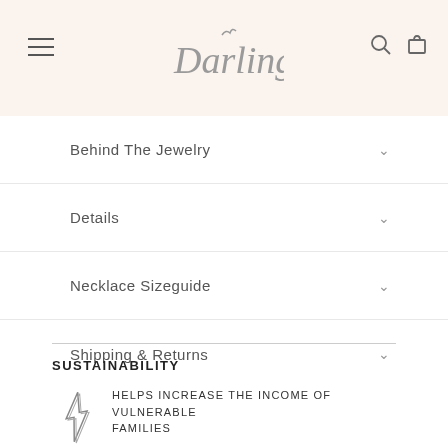Darling
Behind The Jewelry
Details
Necklace Sizeguide
Shipping & Returns
SUSTAINABILITY
HELPS INCREASE THE INCOME OF VULNERABLE FAMILIES